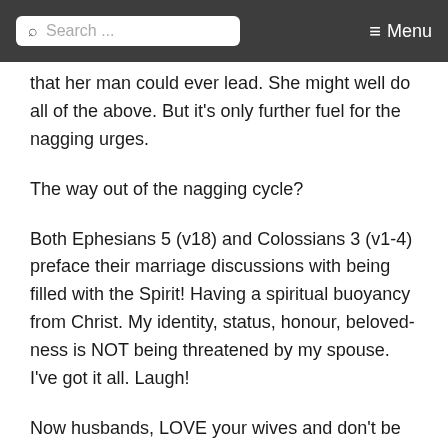Search ... ≡ Menu
that her man could ever lead.  She might well do all of the above.  But it's only further fuel for the nagging urges.
The way out of the nagging cycle?
Both Ephesians 5 (v18) and Colossians 3 (v1-4) preface their marriage discussions with being filled with the Spirit!  Having a spiritual buoyancy from Christ.  My identity, status, honour, beloved-ness is NOT being threatened by my spouse.  I've got it all.  Laugh!
Now husbands, LOVE your wives and don't be harsh.